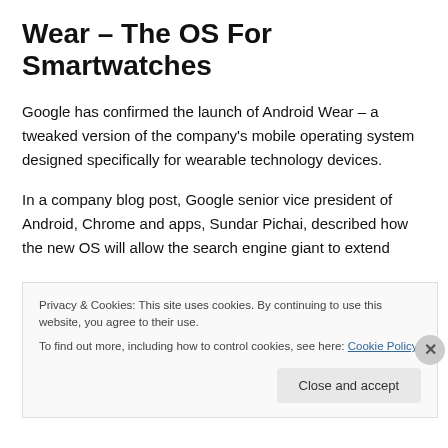Wear – The OS For Smartwatches
Google has confirmed the launch of Android Wear – a tweaked version of the company's mobile operating system designed specifically for wearable technology devices.
In a company blog post, Google senior vice president of Android, Chrome and apps, Sundar Pichai, described how the new OS will allow the search engine giant to extend
Privacy & Cookies: This site uses cookies. By continuing to use this website, you agree to their use.
To find out more, including how to control cookies, see here: Cookie Policy
Close and accept